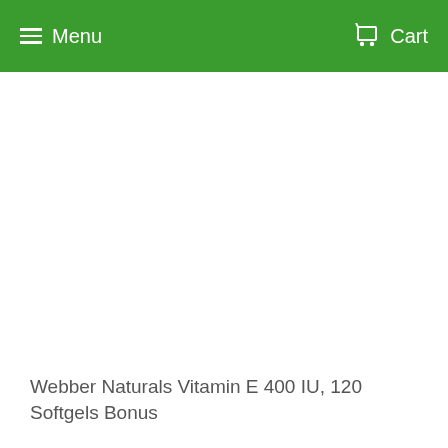Menu  Cart
Webber Naturals Vitamin E 400 IU, 120 Softgels Bonus
NF4536
$10.84  $12.99
SAVE $2.15
1